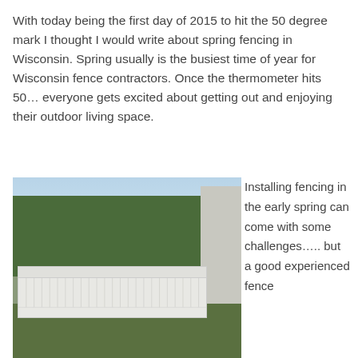With today being the first day of 2015 to hit the 50 degree mark I thought I would write about spring fencing in Wisconsin. Spring usually is the busiest time of year for Wisconsin fence contractors. Once the thermometer hits 50… everyone gets excited about getting out and enjoying their outdoor living space.
[Figure (photo): Photo of a white vinyl fence installed along a backyard, with green trees and blue sky in the background, and green grass in the foreground. A grey house siding is visible on the right side.]
Installing fencing in the early spring can come with some challenges….. but a good experienced fence